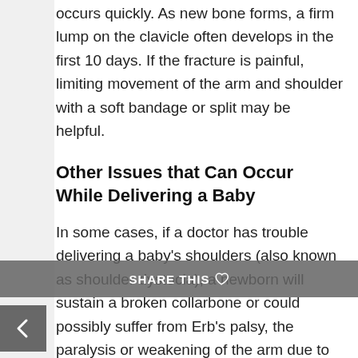occurs quickly. As new bone forms, a firm lump on the clavicle often develops in the first 10 days. If the fracture is painful, limiting movement of the arm and shoulder with a soft bandage or split may be helpful.
Other Issues that Can Occur While Delivering a Baby
In some cases, if a doctor has trouble delivering a baby's shoulders (also known as shoulder dystocia), a newborn will sustain a broken collarbone or could possibly suffer from Erb's palsy, the paralysis or weakening of the arm due to stress on the nerves centered around the shoulders.
Cerebral palsy, one of the more serious birth